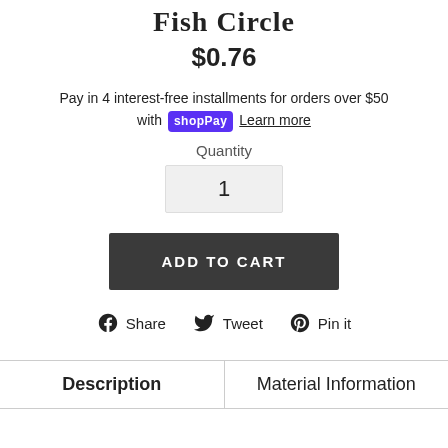Fish Circle
$0.76
Pay in 4 interest-free installments for orders over $50 with Shop Pay Learn more
Quantity
1
ADD TO CART
Share  Tweet  Pin it
| Description | Material Information |
| --- | --- |